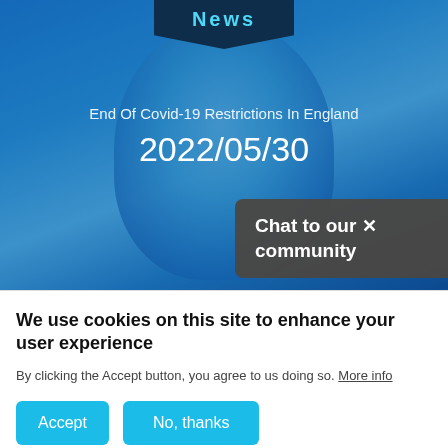[Figure (photo): Blue-tinted hero image of a smiling man with a 'News' banner at top and date overlay, with a 'Chat to our community' popup in the bottom-right corner]
End Of Covid-19 Restrictions In England
2022/05/30
Chat to our community ×
We use cookies on this site to enhance your user experience
By clicking the Accept button, you agree to us doing so. More info
Accept
No, thanks